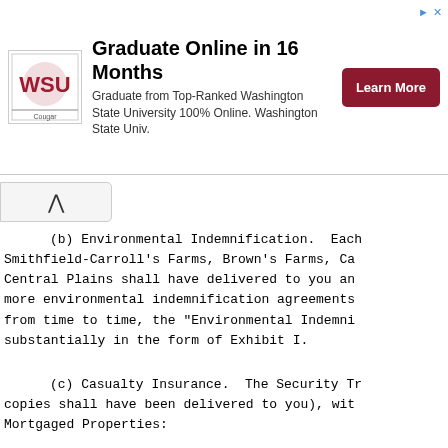[Figure (other): Advertisement banner for Washington State University online graduate program with WSU logo, headline 'Graduate Online in 16 Months', subtitle text, and a dark red 'Learn More' button]
(b) Environmental Indemnification.  Each Smithfield-Carroll's Farms, Brown's Farms, Ca Central Plains shall have delivered to you an more environmental indemnification agreements from time to time, the "Environmental Indemni substantially in the form of Exhibit I.
(c) Casualty Insurance.  The Security Tr copies shall have been delivered to you), wit Mortgaged Properties:
(i) insurance policies insuring eac against all insurable hazards, casualtie
(ii) evidence that none of such Mor area identified as having special flood